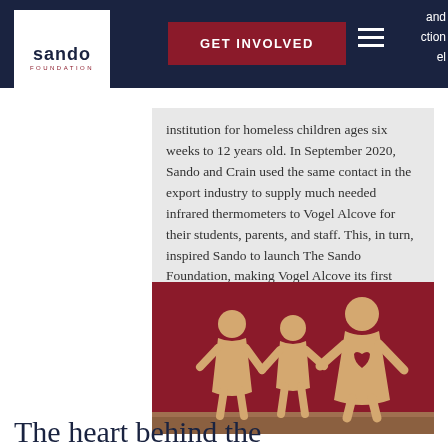sando foundation — GET INVOLVED navigation bar
institution for homeless children ages six weeks to 12 years old. In September 2020, Sando and Crain used the same contact in the export industry to supply much needed infrared thermometers to Vogel Alcove for their students, parents, and staff. This, in turn, inspired Sando to launch The Sando Foundation, making Vogel Alcove its first charity partner.
[Figure (photo): Wooden cutout figures of a family (two children and one adult holding a heart) standing on a wooden surface against a red background.]
The heart behind the